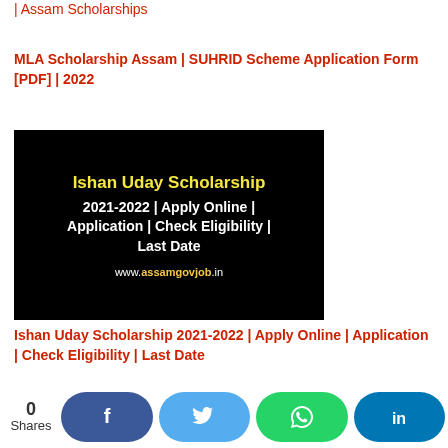| Assam Scholarships
MLA Scholarship Assam | SUHRID Scheme Application Form [PDF] | 2022
[Figure (illustration): Dark banner image with yellow bold text 'Ishan Uday Scholarship' and white text '2021-2022 | Apply Online | Application | Check Eligibility | Last Date' and website URL 'www.assamgovjob.in' in white with 'govjob' in yellow]
Ishan Uday Scholarship 2021-2022 | Apply Online | Application | Check Eligibility | Last Date
National Talent Search Examination Assam 2021: NTSE Application Form 2021-2022
0 Shares